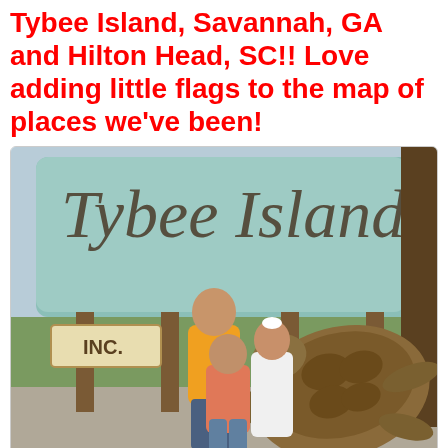Tybee Island, Savannah, GA and Hilton Head, SC!! Love adding little flags to the map of places we've been!
[Figure (photo): Family photo in front of the Tybee Island sign with a large decorative sea turtle sculpture. A man in a yellow shirt and two children stand in front of a weathered teal wooden sign reading 'Tybee Island Inc.' with a sea turtle carved piece beside it.]
[Figure (photo): Partial view of the Tybee Island sign, showing only the top portion of the sign text in a script font against a light teal background.]